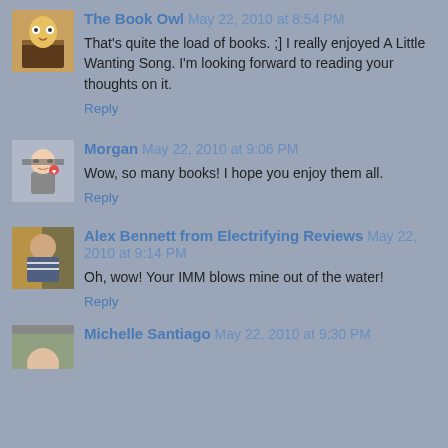[Figure (illustration): Avatar thumbnail for The Book Owl — book with light background]
The Book Owl May 22, 2010 at 8:54 PM
That's quite the load of books. ;] I really enjoyed A Little Wanting Song. I'm looking forward to reading your thoughts on it.
Reply
[Figure (illustration): Avatar thumbnail for Morgan — person with glasses]
Morgan May 22, 2010 at 9:06 PM
Wow, so many books! I hope you enjoy them all.
Reply
[Figure (illustration): Avatar thumbnail for Alex Bennett — person with crossed arms outdoors]
Alex Bennett from Electrifying Reviews May 22, 2010 at 9:14 PM
Oh, wow! Your IMM blows mine out of the water!
Reply
[Figure (illustration): Avatar thumbnail for Michelle Santiago — partial view]
Michelle Santiago May 22, 2010 at 9:30 PM